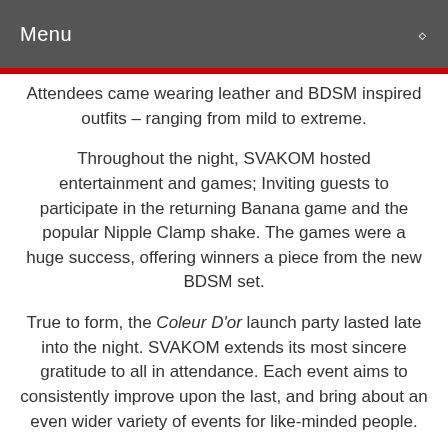Menu
Attendees came wearing leather and BDSM inspired outfits – ranging from mild to extreme.
Throughout the night, SVAKOM hosted entertainment and games; Inviting guests to participate in the returning Banana game and the popular Nipple Clamp shake. The games were a huge success, offering winners a piece from the new BDSM set.
True to form, the Coleur D'or launch party lasted late into the night. SVAKOM extends its most sincere gratitude to all in attendance. Each event aims to consistently improve upon the last, and bring about an even wider variety of events for like-minded people.
F**K Taboos showcased everything it stands for with its inclusive and open space free from judgment. Guests were seen talking and dancing and engaging with one another, free